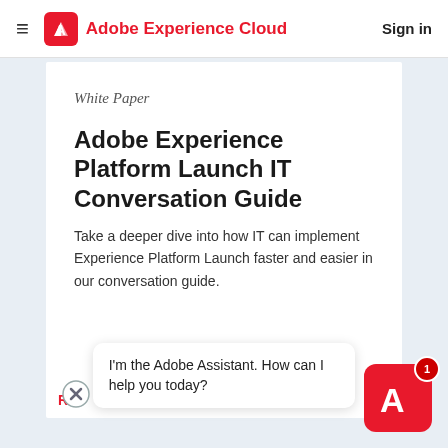Adobe Experience Cloud  Sign in
White Paper
Adobe Experience Platform Launch IT Conversation Guide
Take a deeper dive into how IT can implement Experience Platform Launch faster and easier in our conversation guide.
I'm the Adobe Assistant. How can I help you today?